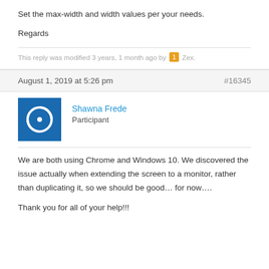Set the max-width and width values per your needs.
Regards
This reply was modified 3 years, 1 month ago by Zex.
August 1, 2019 at 5:26 pm   #16345
Shawna Frede
Participant
We are both using Chrome and Windows 10. We discovered the issue actually when extending the screen to a monitor, rather than duplicating it, so we should be good… for now….
Thank you for all of your help!!!